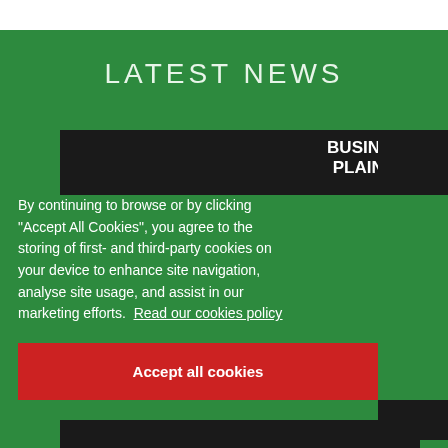LATEST NEWS
[Figure (photo): Dark background image with text overlay reading BUSINESS PLANNING]
By continuing to browse or by clicking “Accept All Cookies”, you agree to the storing of first- and third-party cookies on your device to enhance site navigation, analyse site usage, and assist in our marketing efforts.  Read our cookies policy
Accept all cookies